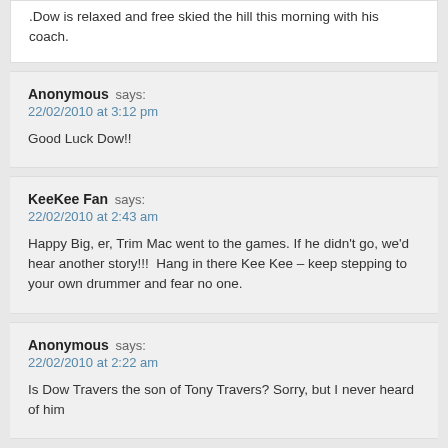.Dow is relaxed and free skied the hill this morning with his coach.
Anonymous says:
22/02/2010 at 3:12 pm

Good Luck Dow!!
KeeKee Fan says:
22/02/2010 at 2:43 am

Happy Big, er, Trim Mac went to the games. If he didn't go, we'd hear another story!!!  Hang in there Kee Kee – keep stepping to your own drummer and fear no one.
Anonymous says:
22/02/2010 at 2:22 am

Is Dow Travers the son of Tony Travers? Sorry, but I never heard of him